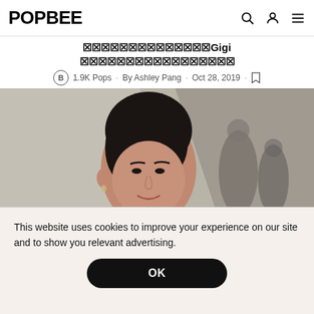POPBEE
⬛⬛⬛⬛⬛⬛⬛⬛⬛⬛⬛⬛⬛⬛Gigi ⬛⬛⬛⬛⬛⬛⬛⬛⬛⬛⬛⬛⬛⬛⬛⬛⬛
B 1.9K Pops · By Ashley Pang · Oct 28, 2019 ·
[Figure (photo): Portrait photo of a dark-haired woman in a beige blazer, smiling, with a blurred architectural background]
This website uses cookies to improve your experience on our site and to show you relevant advertising.
OK